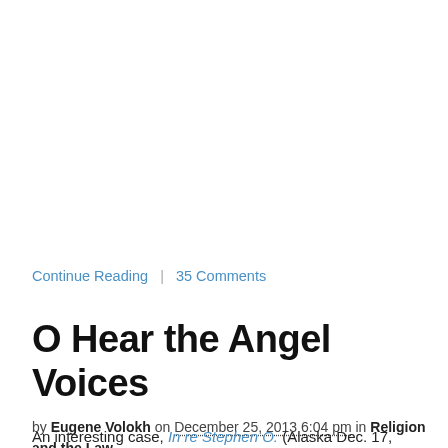Continue Reading | 35 Comments
O Hear the Angel Voices
by Eugene Volokh on December 25, 2013 6:04 pm in Religion and the Law
An interesting case, In re Stephen O. (Alaska Dec. 17, 2013),